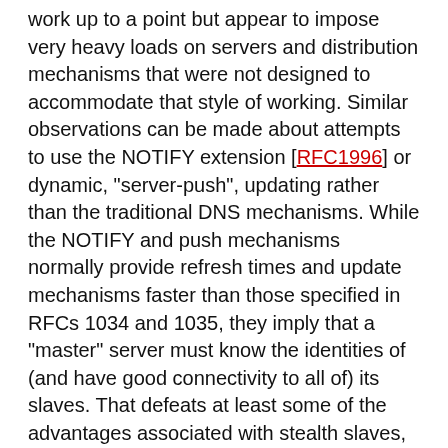work up to a point but appear to impose very heavy loads on servers and distribution mechanisms that were not designed to accommodate that style of working. Similar observations can be made about attempts to use the NOTIFY extension [RFC1996] or dynamic, "server-push", updating rather than the traditional DNS mechanisms. While the NOTIFY and push mechanisms normally provide refresh times and update mechanisms faster than those specified in RFCs 1034 and 1035, they imply that a "master" server must know the identities of (and have good connectivity to all of) its slaves. That defeats at least some of the advantages associated with stealth slaves, particularly those associated with reduction of query traffic across the Internet. Those mechanisms do nothing for cache updates: unless servers keep track of the source of every query for names associated with a specific zone and then somehow notify the query source systems, the only alternative to having information that might be obsolete stored in caches is to use very short or zero TTLs so the cached data time out almost immediately after being stored